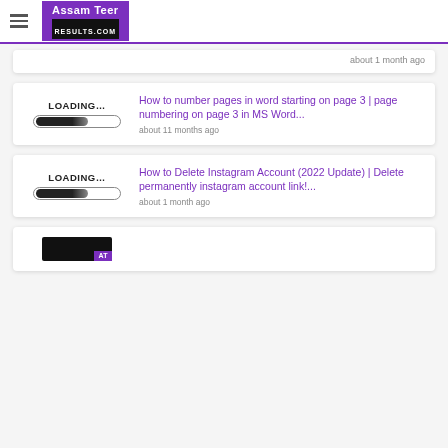Assam Teer RESULTS.COM
about 1 month ago
[Figure (illustration): Loading bar placeholder image with LOADING... text and progress bar]
How to number pages in word starting on page 3 | page numbering on page 3 in MS Word...
about 11 months ago
[Figure (illustration): Loading bar placeholder image with LOADING... text and progress bar]
How to Delete Instagram Account (2022 Update) | Delete permanently instagram account link!...
about 1 month ago
[Figure (logo): Partial logo visible at bottom of page]